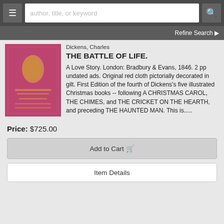[Figure (screenshot): Website navigation bar with hamburger menu button, search input placeholder 'author, title, or keyword', and search icon button on dark gray background]
Refine Search ▶
[Figure (photo): Book cover of 'The Battle of Life' by Charles Dickens, pink/red cloth binding with gilt decoration]
Dickens, Charles
THE BATTLE OF LIFE.
A Love Story. London: Bradbury & Evans, 1846. 2 pp undated ads. Original red cloth pictorially decorated in gilt. First Edition of the fourth of Dickens's five illustrated Christmas books -- following A CHRISTMAS CAROL, THE CHIMES, and THE CRICKET ON THE HEARTH, and preceding THE HAUNTED MAN. This is.....
Price: $725.00
Add to Cart 🛒
Item Details